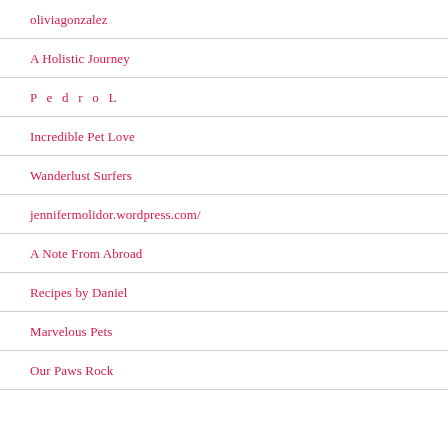oliviagonzalez
A Holistic Journey
P e d r o L
Incredible Pet Love
Wanderlust Surfers
jennifermolidor.wordpress.com/
A Note From Abroad
Recipes by Daniel
Marvelous Pets
Our Paws Rock